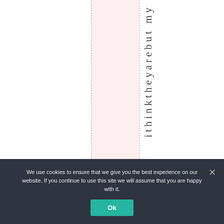[Figure (screenshot): A webpage layout fragment showing vertical dashed column guide lines, a pink highlighted column, and vertical rotated text reading 'think they are but my...' (partial). Below is a cookie consent banner overlay with text and an Ok button.]
think they are but my...
We use cookies to ensure that we give you the best experience on our website. If you continue to use this site we will assume that you are happy with it.